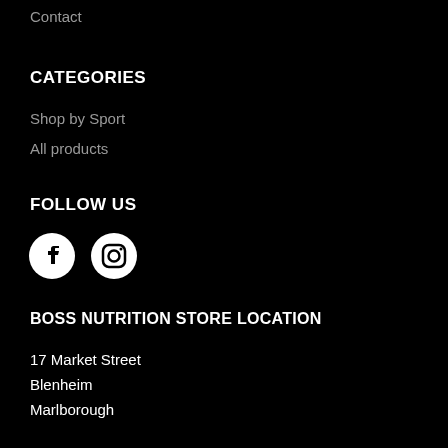Contact
CATEGORIES
Shop by Sport
All products
FOLLOW US
[Figure (illustration): Facebook and Instagram social media icons (white circles with logos on black background)]
BOSS NUTRITION STORE LOCATION
17 Market Street
Blenheim
Marlborough